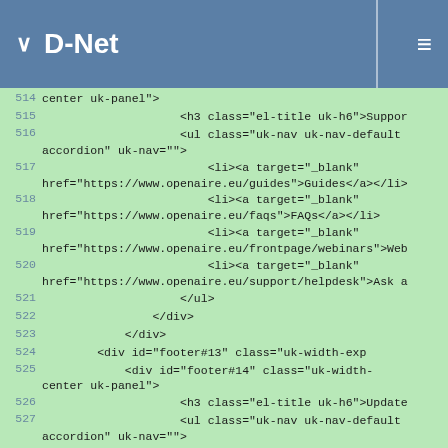D-Net
514  center uk-panel">
515                      <h3 class="el-title uk-h6">Suppor
516                      <ul class="uk-nav uk-nav-default accordion" uk-nav="">
517                              <li><a target="_blank" href="https://www.openaire.eu/guides">Guides</a></li>
518                              <li><a target="_blank" href="https://www.openaire.eu/faqs">FAQs</a></li>
519                              <li><a target="_blank" href="https://www.openaire.eu/frontpage/webinars">Web
520                              <li><a target="_blank" href="https://www.openaire.eu/support/helpdesk">Ask a
521                      </ul>
522                  </div>
523              </div>
524          <div id="footer#13" class="uk-width-exp
525              <div id="footer#14" class="uk-width-center uk-panel">
526                      <h3 class="el-title uk-h6">Update
527                      <ul class="uk-nav uk-nav-default accordion" uk-nav="">
528                              <li><a target="_blank" href="https://www.openaire.eu/news/">News</a></li>
529                              <li><a target="_blank" href="https://www.openaire.eu/events">Events</a></li>
530                              <li><a target="_blank" href="https://www.openaire.eu/blogs/magazine">Blogs</